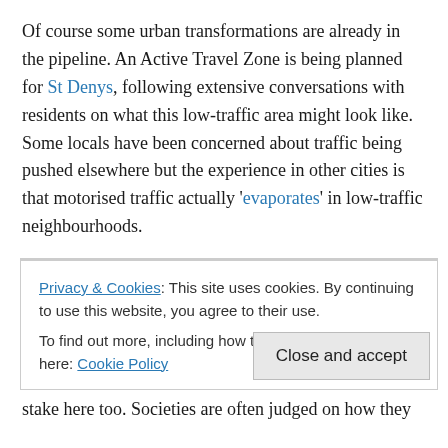Of course some urban transformations are already in the pipeline. An Active Travel Zone is being planned for St Denys, following extensive conversations with residents on what this low-traffic area might look like. Some locals have been concerned about traffic being pushed elsewhere but the experience in other cities is that motorised traffic actually 'evaporates' in low-traffic neighbourhoods.
The current phrase that encapsulates all these ideas is
Privacy & Cookies: This site uses cookies. By continuing to use this website, you agree to their use.
To find out more, including how to control cookies, see here: Cookie Policy
stake here too. Societies are often judged on how they